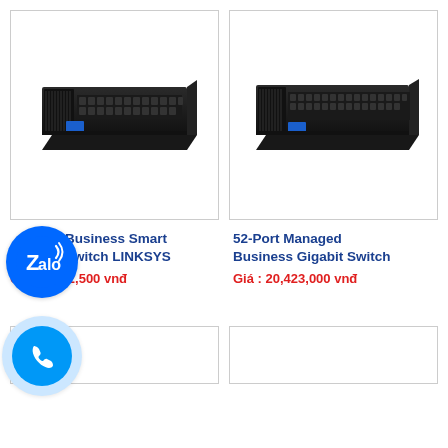[Figure (photo): Black rack-mount network switch (24-port) with blue accent, angled view on white background]
[Figure (photo): Black rack-mount network switch (52-port) with blue accent, angled view on white background]
Business Smart Switch LINKSYS
52-Port Managed Business Gigabit Switch
Giá : 7,412,500 vnđ
Giá : 20,423,000 vnđ
[Figure (other): Partial product image at bottom left]
[Figure (other): Partial product image at bottom right]